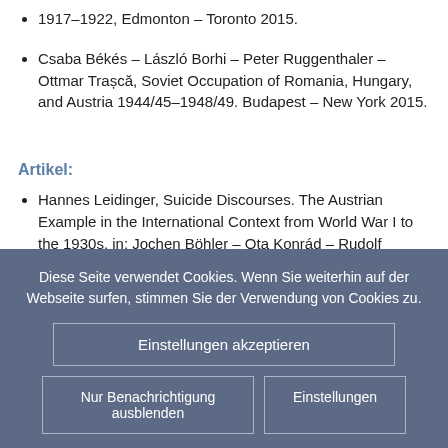1917–1922, Edmonton – Toronto 2015.
Csaba Békés – László Borhi – Peter Ruggenthaler – Ottmar Trașcă, Soviet Occupation of Romania, Hungary, and Austria 1944/45–1948/49. Budapest – New York 2015.
Artikel:
Hannes Leidinger, Suicide Discourses. The Austrian Example in the International Context from World War I to the 1930s, in: Jochen Böhler – Ota Konrád – Rudolf Kučera (Hg.): In the Shadow of the Great War. Physical Violence in East-Central Europe, 1917–1923. New York/Oxford: Berghahn 2021, S. 107–122.
Diese Seite verwendet Cookies. Wenn Sie weiterhin auf der Webseite surfen, stimmen Sie der Verwendung von Cookies zu.
Einstellungen akzeptieren
Nur Benachrichtigung ausblenden
Einstellungen